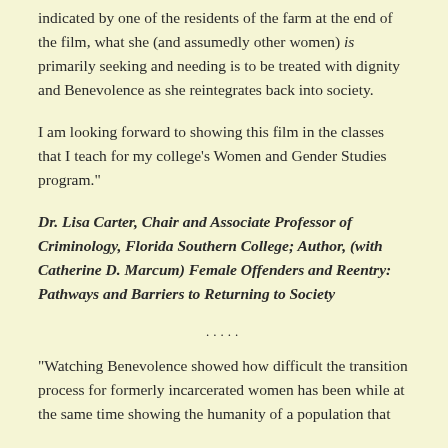indicated by one of the residents of the farm at the end of the film, what she (and assumedly other women) is primarily seeking and needing is to be treated with dignity and Benevolence as she reintegrates back into society.
I am looking forward to showing this film in the classes that I teach for my college's Women and Gender Studies program."
Dr. Lisa Carter, Chair and Associate Professor of Criminology, Florida Southern College; Author, (with Catherine D. Marcum) Female Offenders and Reentry: Pathways and Barriers to Returning to Society
.....
"Watching Benevolence showed how difficult the transition process for formerly incarcerated women has been while at the same time showing the humanity of a population that